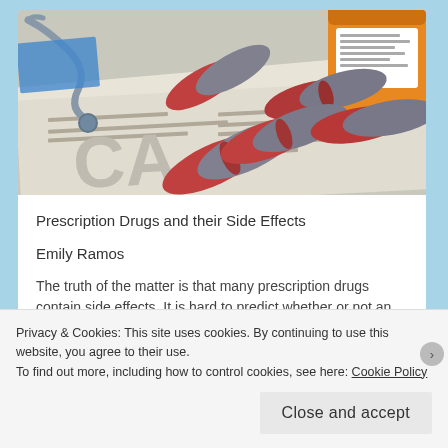[Figure (photo): Prescription medication photo showing red and gray capsule pills spilled from an orange prescription bottle onto a prescription document form, with a stethoscope visible in the background]
Prescription Drugs and their Side Effects
Emily Ramos
The truth of the matter is that many prescription drugs contain side effects. It is hard to predict whether or not an
Privacy & Cookies: This site uses cookies. By continuing to use this website, you agree to their use.
To find out more, including how to control cookies, see here: Cookie Policy